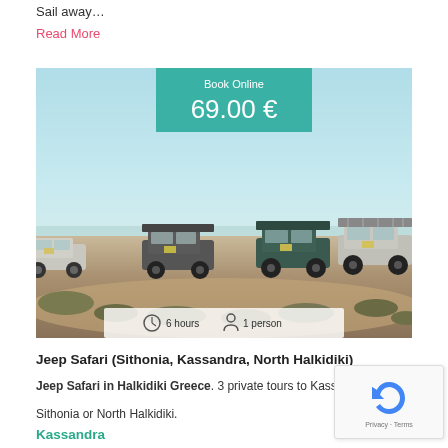Sail away…
Read More
[Figure (photo): Four jeeps/SUVs driving through sandy scrubland with a blue sky background. A teal 'Book Online 69.00 €' badge appears at the top center, and a semi-transparent white bar at the bottom shows '6 hours' and '1 person' icons.]
Jeep Safari (Sithonia, Kassandra, North Halkidiki)
Jeep Safari in Halkidiki Greece. 3 private tours to Kassandra, Sithonia or North Halkidiki.
Kassandra